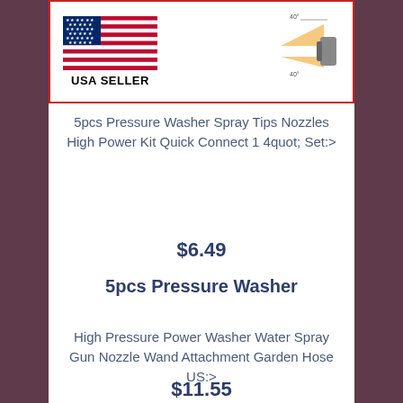[Figure (photo): Product listing image showing USA flag with 'USA SELLER' text on the left and pressure washer nozzle diagram on the right, framed with red border]
5pcs Pressure Washer Spray Tips Nozzles High Power Kit Quick Connect 1 4quot; Set:>
$6.49
5pcs Pressure Washer
High Pressure Power Washer Water Spray Gun Nozzle Wand Attachment Garden Hose US:>
$11.55